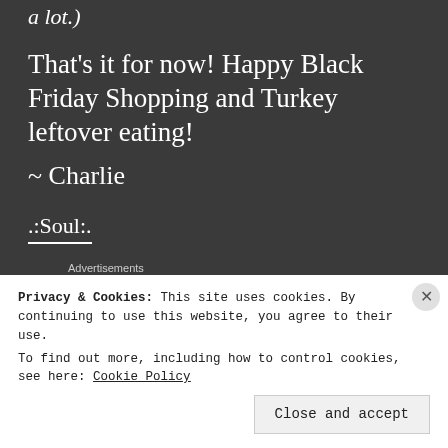a lot.)
That's it for now! Happy Black Friday Shopping and Turkey leftover eating!
~ Charlie
.:Soul:.
Advertisements
[Figure (other): Blue advertisement banner with circular avatar icons]
Privacy & Cookies: This site uses cookies. By continuing to use this website, you agree to their use.
To find out more, including how to control cookies, see here: Cookie Policy
Close and accept